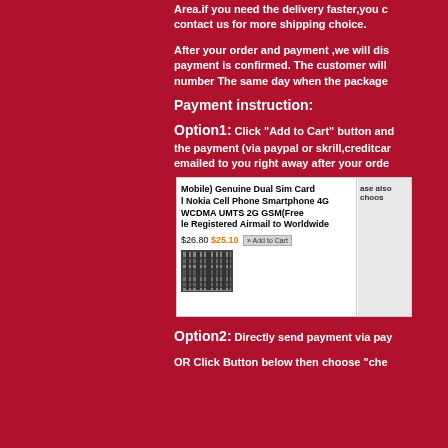Area.if you need the delivery faster,you can contact us for more shipping choice.
After your order and payment ,we will dis... payment is confirmed. The customer will... number The same day when the package...
Payment instruction:
Option1: Click "Add to Cart" button and... the payment (via paypal or skrill,creditcar... emailed to you right away after your orde...
[Figure (screenshot): Screenshot of an eBay-style product listing showing a Nokia Dual SIM smartphone product at $26.80 with sale price $25.10 and an Add to Cart button, with a product image of barcodes/stickers.]
Option2: Directly send payment via pay...
OR Click Button below then choose "che...